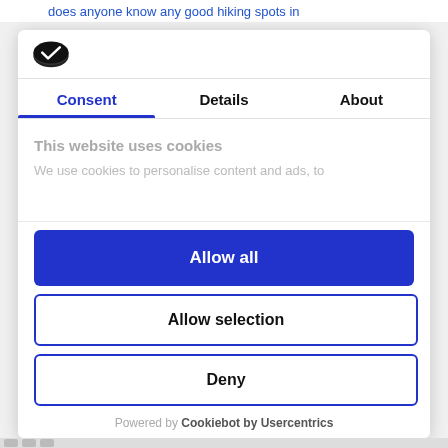... does anyone know any good hiking spots in
[Figure (logo): Cookiebot logo - dark oval/shield shape with checkmark]
Consent	Details	About
This website uses cookies
We use cookies to personalise content and ads, to
Allow all
Allow selection
Deny
Powered by Cookiebot by Usercentrics